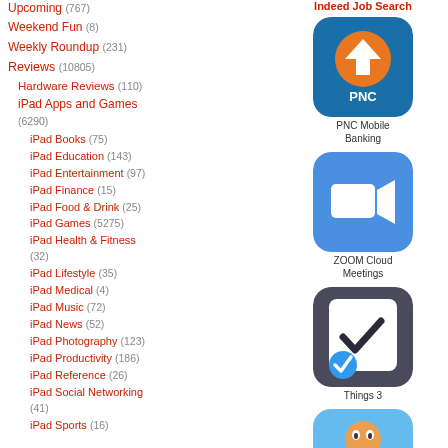Upcoming (767)
Weekend Fun (8)
Weekly Roundup (231)
Reviews (10805)
Hardware Reviews (110)
iPad Apps and Games (6290)
iPad Books (75)
iPad Education (143)
iPad Entertainment (97)
iPad Finance (15)
iPad Food & Drink (25)
iPad Games (5275)
iPad Health & Fitness (32)
iPad Lifestyle (35)
iPad Medical (4)
iPad Music (72)
iPad News (52)
iPad Photography (123)
iPad Productivity (186)
iPad Reference (26)
iPad Social Networking (41)
iPad Sports (16)
Indeed Job Search
[Figure (screenshot): PNC Mobile Banking app icon - orange and white arrow logo on blue background]
PNC Mobile Banking
[Figure (screenshot): ZOOM Cloud Meetings app icon - white video camera on blue background]
ZOOM Cloud Meetings
[Figure (screenshot): Things 3 app icon - checklist with checkmark and blue badge]
Things 3
[Figure (screenshot): Colorful game app icon with cartoon superhero character]